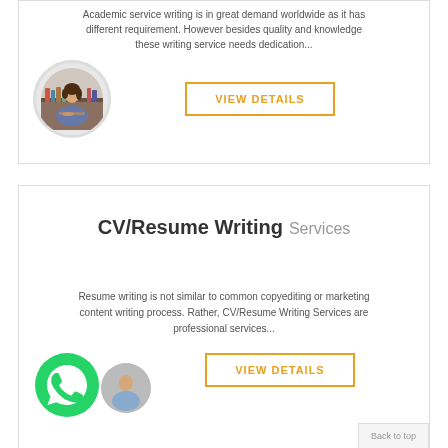Academic service writing is in great demand worldwide as it has different requirement. However besides quality and knowledge these writing service needs dedication...
[Figure (photo): Circular avatar photo of a woman studying at a library, with books in background]
VIEW DETAILS
CV/Resume Writing Services
Resume writing is not similar to common copyediting or marketing content writing process. Rather, CV/Resume Writing Services are professional services...
[Figure (logo): Green WhatsApp phone icon]
VIEW DETAILS
Back to top